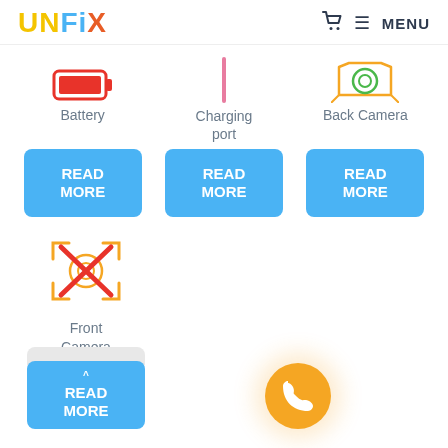UNFIX — MENU
[Figure (illustration): Battery icon (red/orange rectangle), Charging port icon (pink vertical bar), Back Camera icon (orange/green camera outline)]
Battery
Charging port
Back Camera
READ MORE
READ MORE
READ MORE
[Figure (illustration): Front camera icon with orange X cross overlay]
Front Camera
READ MORE
[Figure (illustration): Orange circular phone/call button (FAB)]